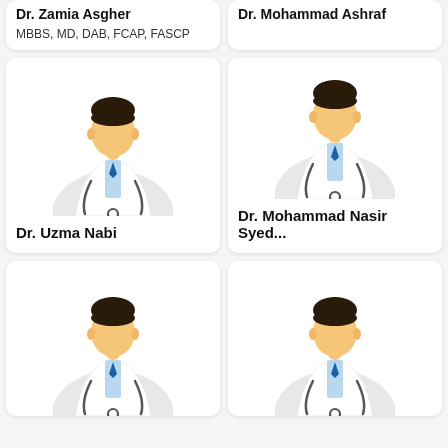[Figure (illustration): Generic male doctor icon with white coat, blue tie, and stethoscope — top card left, partial (cropped at top)]
Dr. Zamia Asgher
MBBS, MD, DAB, FCAP, FASCP
[Figure (illustration): Generic male doctor icon with white coat, blue tie, and stethoscope — top card right, partial (cropped at top)]
Dr. Mohammad Ashraf
[Figure (illustration): Generic male doctor icon with white coat, blue tie, and stethoscope — middle card left]
Dr. Uzma Nabi
[Figure (illustration): Generic male doctor icon with white coat, blue tie, and stethoscope — middle card right]
Dr. Mohammad Nasir Syed...
[Figure (illustration): Generic male doctor icon with white coat, blue tie, and stethoscope — bottom card left, partially cropped]
[Figure (illustration): Generic male doctor icon with white coat, blue tie, and stethoscope — bottom card right, partially cropped]